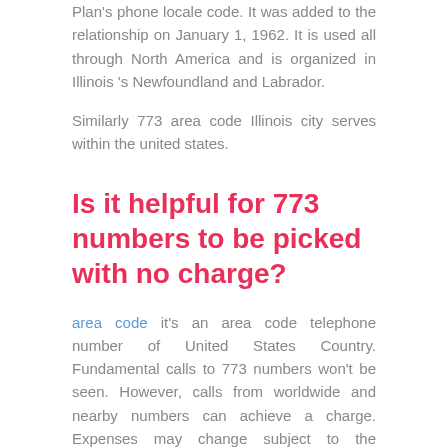Plan's phone locale code. It was added to the relationship on January 1, 1962. It is used all through North America and is organized in Illinois 's Newfoundland and Labrador.
Similarly 773 area code Illinois city serves within the united states.
Is it helpful for 773 numbers to be picked with no charge?
area code it's an area code telephone number of United States Country. Fundamental calls to 773 numbers won't be seen. However, calls from worldwide and nearby numbers can achieve a charge. Expenses may change subject to the association where you purchased your media transmission